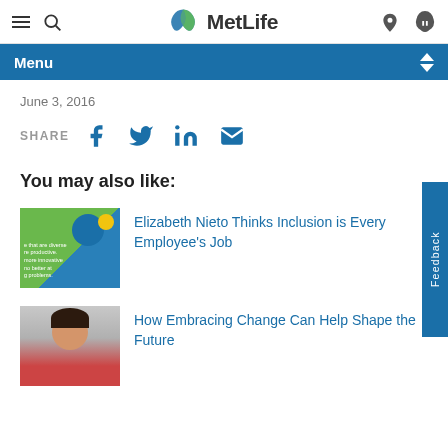MetLife navigation header with hamburger menu, search, logo, user and headset icons
Menu
June 3, 2016
SHARE
[Figure (infographic): Social share icons: Facebook, Twitter, LinkedIn, Email]
You may also like:
[Figure (photo): Thumbnail image with green background, blue and yellow circles, and text about diversity]
Elizabeth Nieto Thinks Inclusion is Every Employee's Job
[Figure (photo): Thumbnail photo of a smiling woman in a red top]
How Embracing Change Can Help Shape the Future